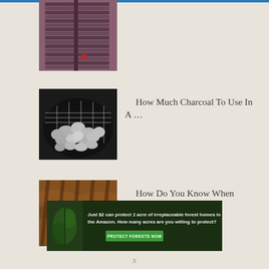[Figure (photo): Photo of wooden shutters or blinds in reddish-brown color, partially visible at top of page]
[Figure (photo): Photo of charcoal pieces arranged in a black grill grate, white/grey ash visible on charcoal]
How Much Charcoal To Use In A …
[Figure (photo): Close-up photo of grilled chicken with charred skin and grill marks]
How Do You Know When Chicken Done …
[Figure (infographic): Advertisement banner: Just $2 can protect 1 acre of irreplaceable forest homes in the Amazon. How many acres are you willing to protect? PROTECT FORESTS NOW]